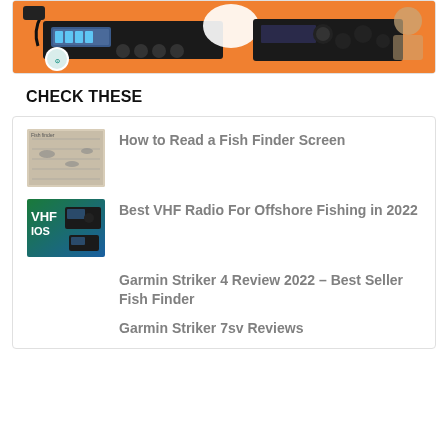[Figure (photo): CB radio device on orange background with a person in the background, with a circular logo overlay]
CHECK THESE
[Figure (photo): Thumbnail image of a fish finder screen showing fish arches and depth readings]
How to Read a Fish Finder Screen
[Figure (photo): Thumbnail showing VHF radio equipment with teal/blue gradient background and VHF IOS text]
Best VHF Radio For Offshore Fishing in 2022
Garmin Striker 4 Review 2022 – Best Seller Fish Finder
Garmin Striker 7sv Reviews